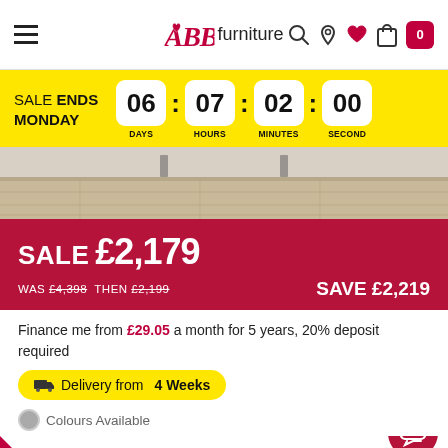ABB furniture — navigation bar with hamburger menu, logo, search, location, wishlist, cart icons
SALE ENDS MONDAY — 06 DAYS : 07 HOURS : 02 MINUTES : 00 SECOND
[Figure (photo): Product image showing furniture (table/desk) legs on a wood-effect floor, cropped view]
SALE £2,179 — WAS £4,398 THEN £2,199 — SAVE £2,219
Finance me from £29.05 a month for 5 years, 20% deposit required
Delivery from 4 Weeks
Colours Available
Sign Up
ENDS MONDAY  SALE